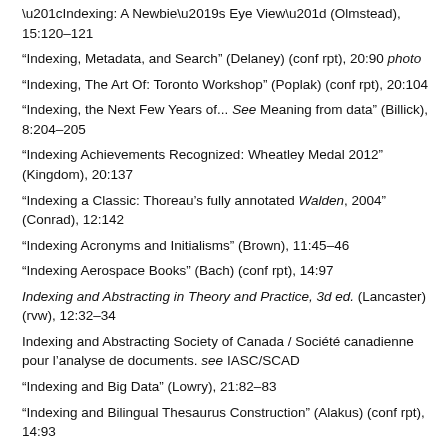“Indexing: A Newbie’s Eye View” (Olmstead), 15:120–121
“Indexing, Metadata, and Search” (Delaney) (conf rpt), 20:90 photo
“Indexing, The Art Of: Toronto Workshop” (Poplak) (conf rpt), 20:104
“Indexing, the Next Few Years of... See Meaning from data” (Billick), 8:204–205
“Indexing Achievements Recognized: Wheatley Medal 2012” (Kingdom), 20:137
“Indexing a Classic: Thoreau’s fully annotated Walden, 2004” (Conrad), 12:142
“Indexing Acronyms and Initialisms” (Brown), 11:45–46
“Indexing Aerospace Books” (Bach) (conf rpt), 14:97
Indexing and Abstracting in Theory and Practice, 3d ed. (Lancaster) (rvw), 12:32–34
Indexing and Abstracting Society of Canada / Société canadienne pour l’analyse de documents. see IASC/SCAD
“Indexing and Big Data” (Lowry), 21:82–83
“Indexing and Bilingual Thesaurus Construction” (Alakus) (conf rpt), 14:93
“Indexing and Indexers in the Age of Big Data” (Lennie) (conf rpt), 22:36–37 photo
“Indexing and Vocabulary Development” (Kelsch) (conf rpt), 12:95–96
“Indexing and Vocabulary Development Research at Graduate Schools of